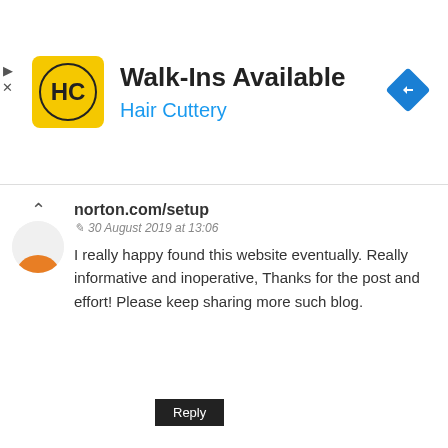[Figure (infographic): Hair Cuttery advertisement banner with yellow HC logo, title 'Walk-Ins Available', blue subtitle 'Hair Cuttery', and a blue diamond direction icon on the right]
norton.com/setup
30 August 2019 at 13:06
I really happy found this website eventually. Really informative and inoperative, Thanks for the post and effort! Please keep sharing more such blog.
Reply